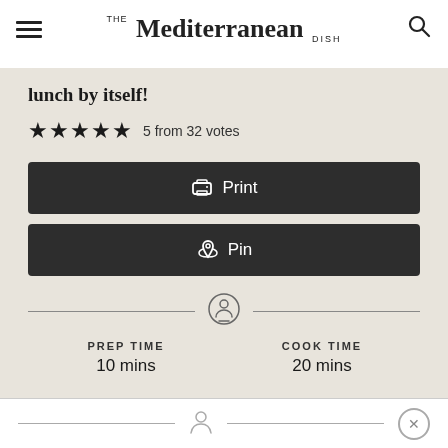THE Mediterranean DISH
lunch by itself!
5 from 32 votes
Print
Pin
PREP TIME 10 mins
COOK TIME 20 mins